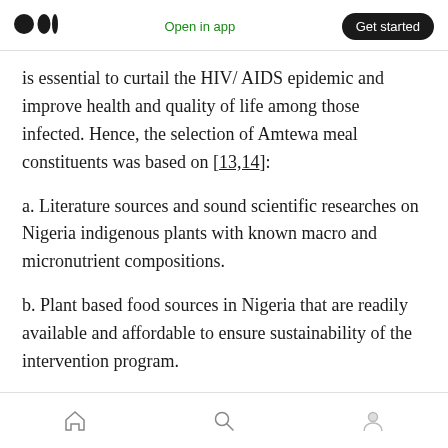Open in app  Get started
is essential to curtail the HIV/ AIDS epidemic and improve health and quality of life among those infected. Hence, the selection of Amtewa meal constituents was based on [13,14]:
a. Literature sources and sound scientific researches on Nigeria indigenous plants with known macro and micronutrient compositions.
b. Plant based food sources in Nigeria that are readily available and affordable to ensure sustainability of the intervention program.
home  search  profile